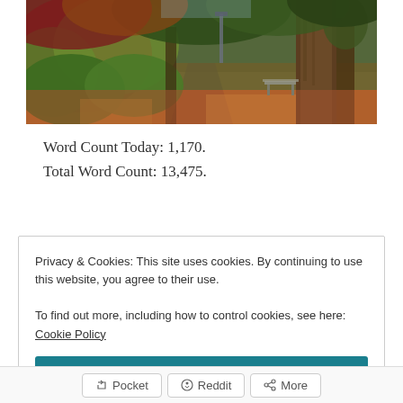[Figure (photo): Autumn forest path with fallen orange leaves covering the ground, tall trees including a large redwood on the right, green and red foliage on the left, a wooden bench visible in the middle distance, natural woodland setting.]
Word Count Today: 1,170.
Total Word Count: 13,475.
Privacy & Cookies: This site uses cookies. By continuing to use this website, you agree to their use.
To find out more, including how to control cookies, see here: Cookie Policy
Close and accept